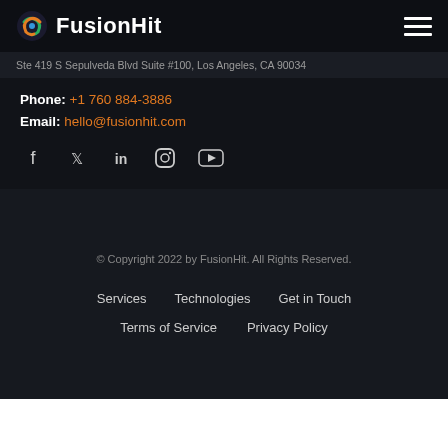FusionHit
Ste 419 S Sepulveda Blvd Suite #100, Los Angeles, CA 90034
Phone: +1 760 884-3886
Email: hello@fusionhit.com
[Figure (other): Social media icons: Facebook, Twitter, LinkedIn, Instagram, YouTube]
© Copyright 2022 by FusionHit. All Rights Reserved.
Services
Technologies
Get in Touch
Terms of Service
Privacy Policy